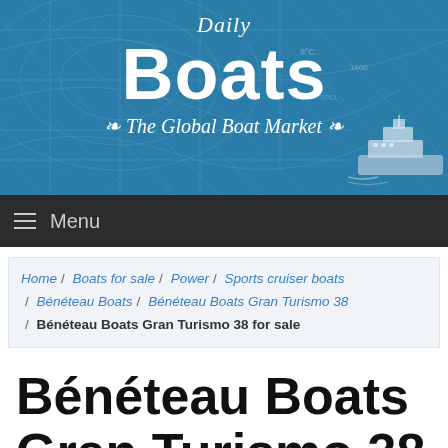[Figure (logo): Daily Boats – The Global Boat Market website header banner with blue nautical map background, large white bold 'Boats' text, italic 'Daily' above, italic tagline 'The Global Boat Market', and a ship silhouette on the right]
Menu
Home / Boats for sale / Power / Sports cruiser boats / Bénéteau Boats / Bénéteau Boats Gran Turismo 38 / Bénéteau Boats Gran Turismo 38 for sale
Bénéteau Boats Gran Turismo 38 for sale